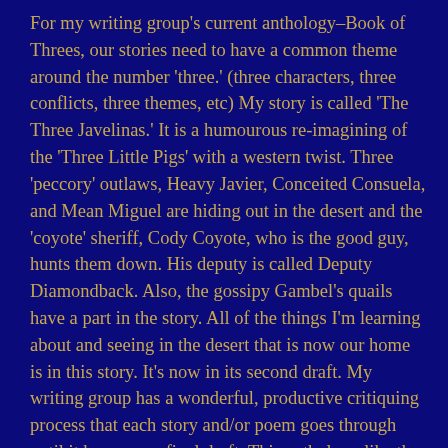For my writing group's current anthology–Book of Threes, our stories need to have a common theme around the number 'three.' (three characters, three conflicts, three themes, etc) My story is called 'The Three Javelinas.' It is a humourous re-imagining of the 'Three Little Pigs' with a western twist. Three 'peccory' outlaws, Heavy Javier, Conceited Consuela, and Mean Miguel are hiding out in the desert and the 'coyote' sheriff, Cody Coyote, who is the good guy, hunts them down. His deputy is called Deputy Diamondback. Also, the gossipy Gambel's quails have a part in the story. All of the things I'm learning about and seeing in the desert that is now our home is in this story. It's now in its second draft. My writing group has a wonderful, productive critiquing process that each story and/or poem goes through until it becomes a final draft. This anthology like the previous anthology, Mask, Facades, and Reveals, will be illustrated. I'm planning on submitting